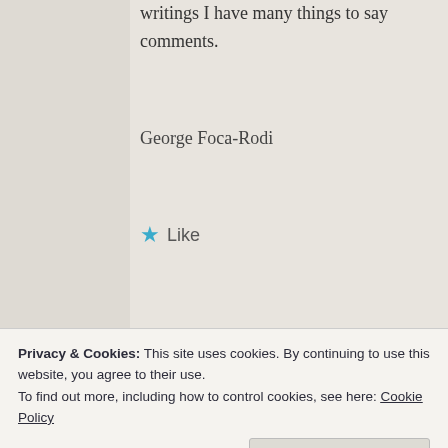writings I have many things to say comments.
George Foca-Rodi
★ Like
Reply ↓
David James said:
George,
Privacy & Cookies: This site uses cookies. By continuing to use this website, you agree to their use. To find out more, including how to control cookies, see here: Cookie Policy
Close and accept